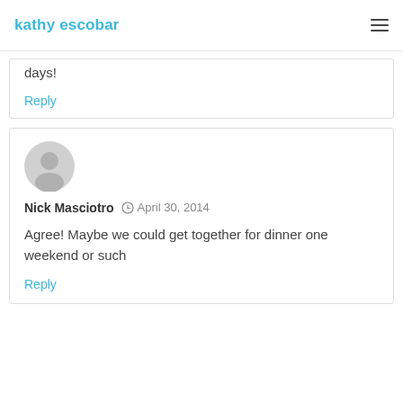kathy escobar
days!
Reply
[Figure (illustration): Gray generic user avatar circle icon]
Nick Masciotro  April 30, 2014
Agree! Maybe we could get together for dinner one weekend or such
Reply